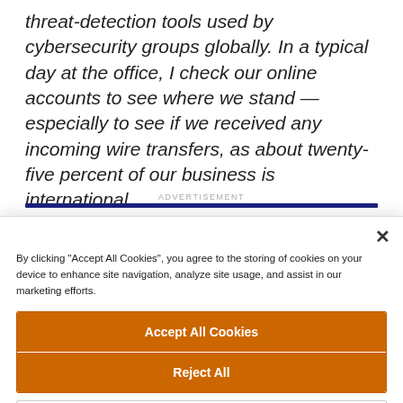threat-detection tools used by cybersecurity groups globally. In a typical day at the office, I check our online accounts to see where we stand — especially to see if we received any incoming wire transfers, as about twenty-five percent of our business is international.
ADVERTISEMENT
By clicking "Accept All Cookies", you agree to the storing of cookies on your device to enhance site navigation, analyze site usage, and assist in our marketing efforts.
Accept All Cookies
Reject All
Cookies Settings